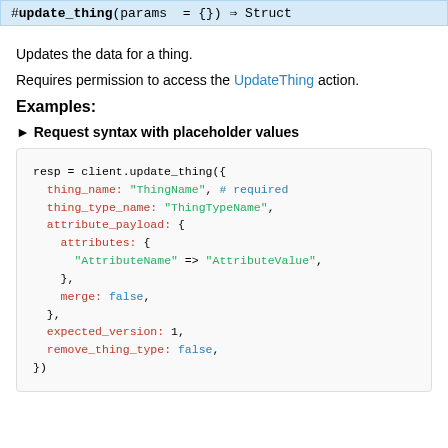#update_thing(params = {}) ⇒ Struct
Updates the data for a thing.
Requires permission to access the UpdateThing action.
Examples:
► Request syntax with placeholder values
[Figure (screenshot): Code block showing Ruby syntax: resp = client.update_thing({ thing_name: "ThingName", # required, thing_type_name: "ThingTypeName", attribute_payload: { attributes: { "AttributeName" => "AttributeValue", }, merge: false, }, expected_version: 1, remove_thing_type: false, })]